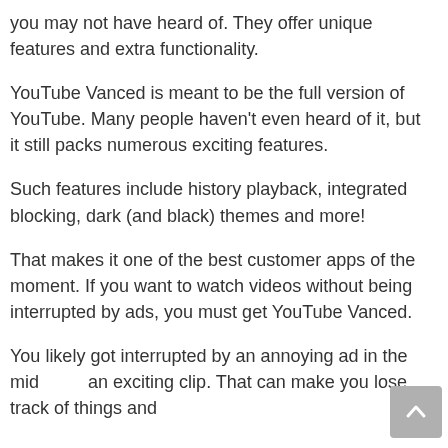you may not have heard of. They offer unique features and extra functionality.
YouTube Vanced is meant to be the full version of YouTube. Many people haven't even heard of it, but it still packs numerous exciting features.
Such features include history playback, integrated blocking, dark (and black) themes and more!
That makes it one of the best customer apps of the moment. If you want to watch videos without being interrupted by ads, you must get YouTube Vanced.
You likely got interrupted by an annoying ad in the mid… an exciting clip. That can make you lose track of things and